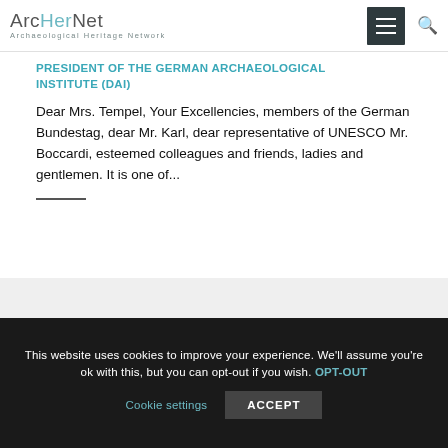ArcHerNet – Archaeological Heritage Network
PRESIDENT OF THE GERMAN ARCHAEOLOGICAL INSTITUTE (DAI)
Dear Mrs. Tempel, Your Excellencies, members of the German Bundestag, dear Mr. Karl, dear representative of UNESCO Mr. Boccardi, esteemed colleagues and friends, ladies and gentlemen. It is one of...
This website uses cookies to improve your experience. We'll assume you're ok with this, but you can opt-out if you wish. OPT-OUT
Cookie settings   ACCEPT